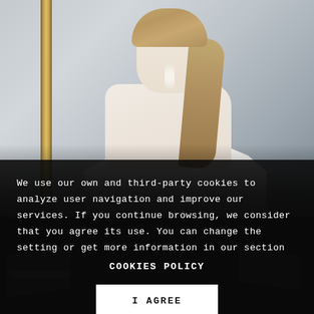[Figure (photo): A blonde woman in an off-shoulder white gown, wearing floral drop earrings, looking over her shoulder. She has a sleek low ponytail. A gold ornate frame is visible on the left. The lower portion of the image fades to dark/black overlay.]
We use our own and third-party cookies to analyze user navigation and improve our services. If you continue browsing, we consider that you agree its use. You can change the setting or get more information in our section
COOKIES POLICY
I AGREE